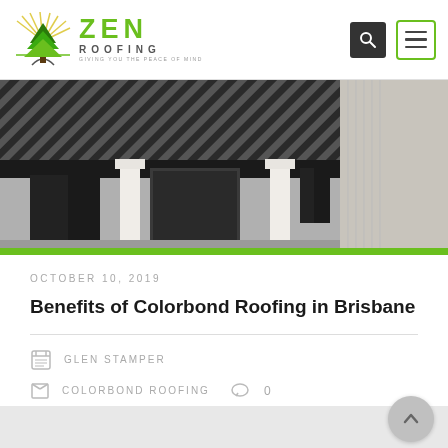[Figure (logo): Zen Roofing logo with green tree icon, ZEN text in green, ROOFING in dark grey, tagline GIVING YOU THE PEACE OF MIND]
[Figure (photo): Photo of a house with Colorbond metal roofing in striped pattern, white columns, dark shuttered windows]
OCTOBER 10, 2019
Benefits of Colorbond Roofing in Brisbane
GLEN STAMPER
COLORBOND ROOFING   0